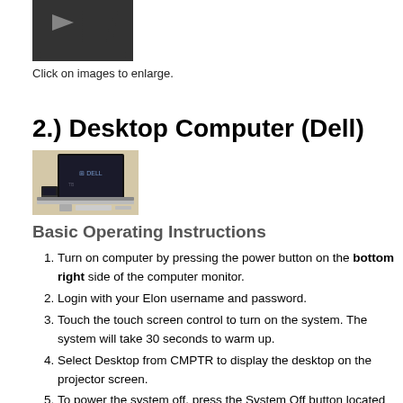[Figure (photo): A touch-screen monitor/computer display showing a dark screen with light content, photographed from slightly above.]
Click on images to enlarge.
2.) Desktop Computer (Dell)
[Figure (photo): A Dell desktop computer setup showing a dark monitor with a smaller secondary display, keyboard and mouse on a desk.]
Basic Operating Instructions
Turn on computer by pressing the power button on the bottom right side of the computer monitor.
Login with your Elon username and password.
Touch the touch screen control to turn on the system. The system will take 30 seconds to warm up.
Select Desktop from CMPTR to display the desktop on the projector screen.
To power the system off, press the System Off button located...